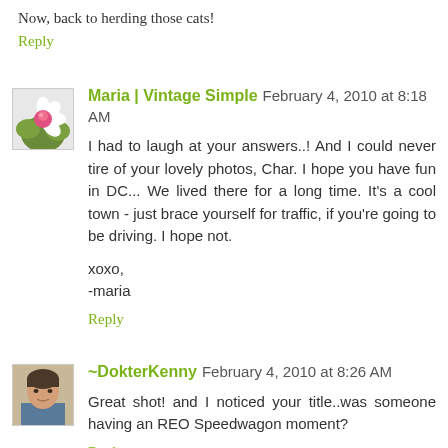Now, back to herding those cats!
Reply
Maria | Vintage Simple  February 4, 2010 at 8:18 AM
I had to laugh at your answers..! And I could never tire of your lovely photos, Char. I hope you have fun in DC... We lived there for a long time. It's a cool town - just brace yourself for traffic, if you're going to be driving. I hope not.

xoxo,
-maria
Reply
~DokterKenny  February 4, 2010 at 8:26 AM
Great shot! and I noticed your title..was someone having an REO Speedwagon moment?
Reply